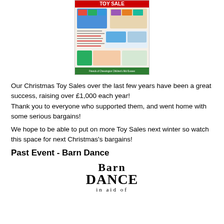[Figure (photo): A Christmas toy sale flyer/poster with colorful toys and promotional details, green banner at the bottom reading 'Friends of Chessington Children's Mid-Sussex']
Our Christmas Toy Sales over the last few years have been a great success, raising over £1,000 each year!
Thank you to everyone who supported them, and went home with some serious bargains!
We hope to be able to put on more Toy Sales next winter so watch this space for next Christmas's bargains!
Past Event - Barn Dance
[Figure (logo): Barn Dance in aid of [FOSS Mid-Sussex] logo with decorative western-style typography]